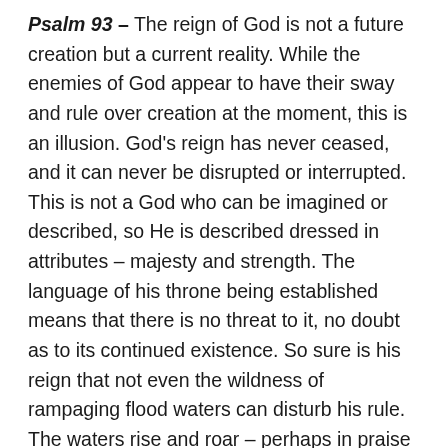Psalm 93 – The reign of God is not a future creation but a current reality. While the enemies of God appear to have their sway and rule over creation at the moment, this is an illusion. God's reign has never ceased, and it can never be disrupted or interrupted. This is not a God who can be imagined or described, so He is described dressed in attributes – majesty and strength. The language of his throne being established means that there is no threat to it, no doubt as to its continued existence. So sure is his reign that not even the wildness of rampaging flood waters can disturb his rule. The waters rise and roar – perhaps in praise of the God who created them? But if they raise their voice to challenge him, God's voice is without question stronger and more powerful than the mightiest of sounds in all of creation. But when God speaks it isn't simply